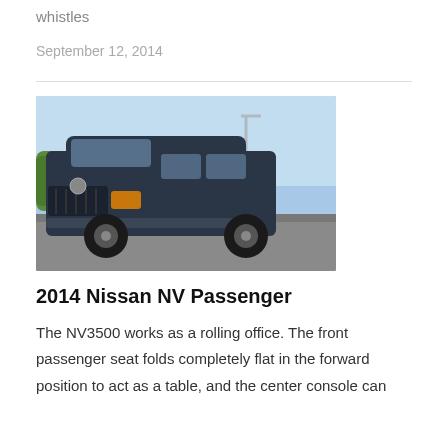whistles
September 12, 2014
[Figure (photo): Photograph of a dark navy/charcoal 2014 Nissan NV Passenger van, front three-quarter view, parked outdoors with green hedges and blue sky in the background.]
2014 Nissan NV Passenger
The NV3500 works as a rolling office. The front passenger seat folds completely flat in the forward position to act as a table, and the center console can